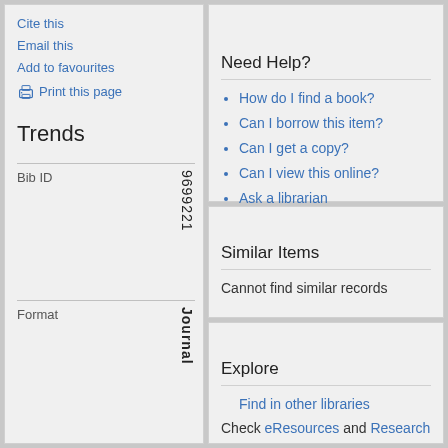Cite this
Email this
Add to favourites
Print this page
Trends
Bib ID    9 6 9 9 2 2 1
Format    J o u r n a l
Uniform Title    T r e
Need Help?
How do I find a book?
Can I borrow this item?
Can I get a copy?
Can I view this online?
Ask a librarian
Similar Items
Cannot find similar records
Explore
Find in other libraries
Check eResources and Research